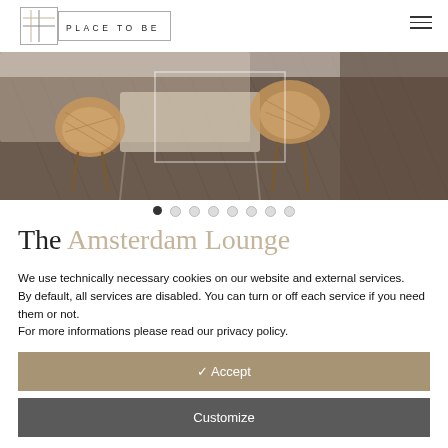[Figure (logo): Place To Be logo with grid/cross icon and text PLACE TO BE in a bordered rectangle]
[Figure (photo): Interior lounge photo showing wicker/rattan chairs around a coffee table on a herringbone wood floor]
[Figure (other): Slideshow pagination dots, 8 dots with first one filled/active]
The Amsterdam Lounge
We use technically necessary cookies on our website and external services.
By default, all services are disabled. You can turn or off each service if you need them or not.
For more informations please read our privacy policy.
✓ Accept
Customize